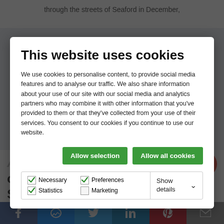through the streets of Seaford in December,
This website uses cookies
We use cookies to personalise content, to provide social media features and to analyse our traffic. We also share information about your use of our site with our social media and analytics partners who may combine it with other information that you've provided to them or that they've collected from your use of their services. You consent to our cookies if you continue to use our website.
Allow selection | Allow all cookies
Necessary  Preferences  Statistics  Marketing  Show details
Award of Rotary Certificate of Appreciation to Seahaven Storehouse